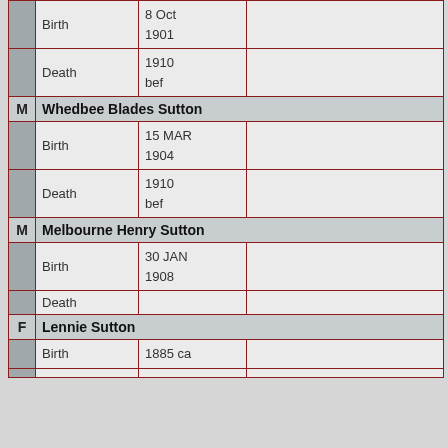|  | Event | Date | Place |
| --- | --- | --- | --- |
| Birth | 8 Oct 1901 |  |
| Death | 1910 bef |  |
| M Whedbee Blades Sutton |  |  |
| Birth | 15 MAR 1904 |  |
| Death | 1910 bef |  |
| M Melbourne Henry Sutton |  |  |
| Birth | 30 JAN 1908 |  |
| Death |  |  |
| F Lennie Sutton |  |  |
| Birth | 1885 ca |  |